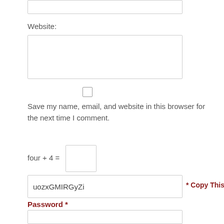[Figure (screenshot): Partial input field at the top of the page (cropped)]
Website:
[Figure (screenshot): Website text input field (empty)]
[Figure (screenshot): Checkbox (unchecked)]
Save my name, email, and website in this browser for the next time I comment.
four + 4 =
[Figure (screenshot): Small input box for math captcha answer]
[Figure (screenshot): Captcha field showing text: uozxGMIRGyZi]
* Copy This
Password *
[Figure (screenshot): Password input field (empty)]
* Type Or Paste
Password Here *